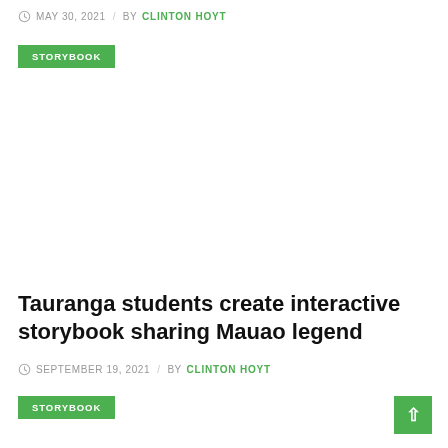MAY 30, 2021 / BY CLINTON HOYT
STORYBOOK
Tauranga students create interactive storybook sharing Mauao legend
SEPTEMBER 19, 2021 / BY CLINTON HOYT
STORYBOOK